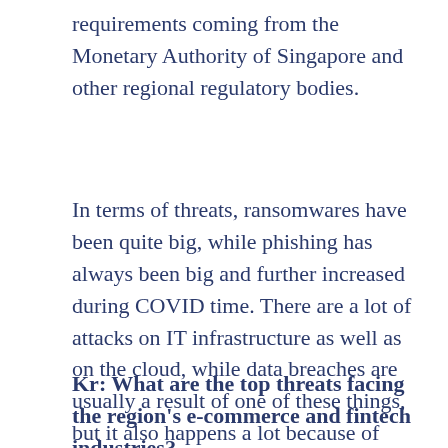requirements coming from the Monetary Authority of Singapore and other regional regulatory bodies.
In terms of threats, ransomwares have been quite big, while phishing has always been big and further increased during COVID time. There are a lot of attacks on IT infrastructure as well as on the cloud, while data breaches are usually a result of one of these things, but it also happens a lot because of people making mistakes.
Kr: What are the top threats facing the region's e-commerce and fintech industries?